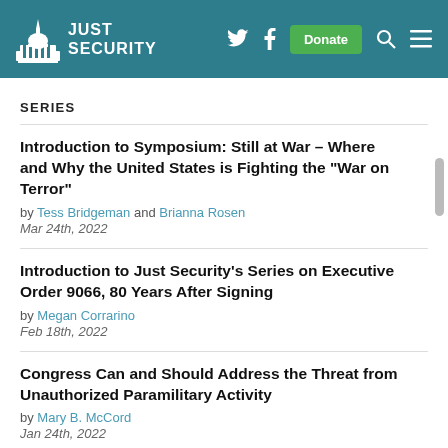JUST SECURITY
SERIES
Introduction to Symposium: Still at War – Where and Why the United States is Fighting the "War on Terror"
by Tess Bridgeman and Brianna Rosen
Mar 24th, 2022
Introduction to Just Security's Series on Executive Order 9066, 80 Years After Signing
by Megan Corrarino
Feb 18th, 2022
Congress Can and Should Address the Threat from Unauthorized Paramilitary Activity
by Mary B. McCord
Jan 24th, 2022